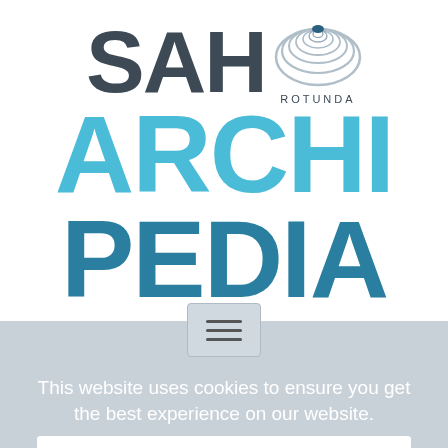[Figure (logo): SAH Archipedia logo with rotunda dome graphic, large bold text 'SAH' in dark gray, 'ARCHI' in light blue, 'PEDIA' in darker blue, and 'ROTUNDA' label next to dome illustration]
This website uses cookies to ensure you get the best experience on our website.
Colorado » The South Platte » Larimer County » Fort Collins » Library Park
Got it!
LIBRARY PARK